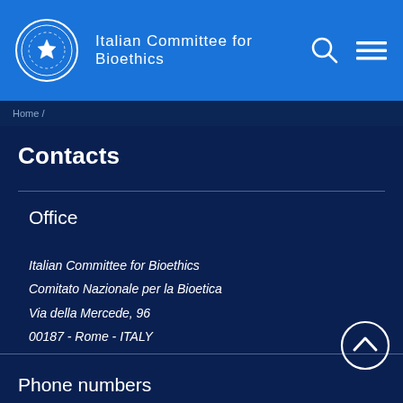Italian Committee for Bioethics
Contacts
Office
Italian Committee for Bioethics
Comitato Nazionale per la Bioetica
Via della Mercede, 96
00187 - Rome - ITALY
Phone numbers